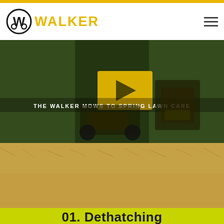Walker Mowers - Spring Lawn Care
[Figure (photo): Walker Mowers logo with circular W emblem and yellow WALKER text in header]
[Figure (photo): Banner showing Walker mower equipment in lawn care setting with text 'THE WALKER MOWS TO SPRING LAWN CARE' overlay]
[Figure (photo): Close-up photo of dry/dormant grass lawn in golden/tan tones]
01. Dethatching